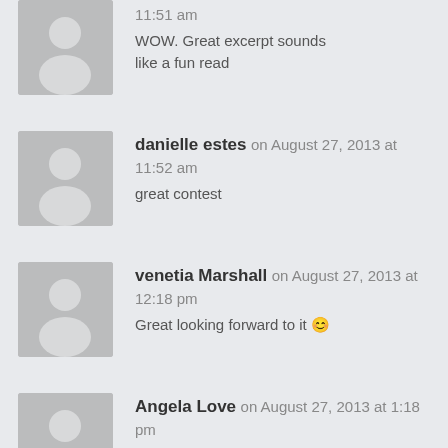11:51 am
WOW. Great excerpt sounds like a fun read
danielle estes on August 27, 2013 at 11:52 am
great contest
venetia Marshall on August 27, 2013 at 12:18 pm
Great looking forward to it 😊
Angela Love on August 27, 2013 at 1:18 pm
Loved the Blurb and Excerpt